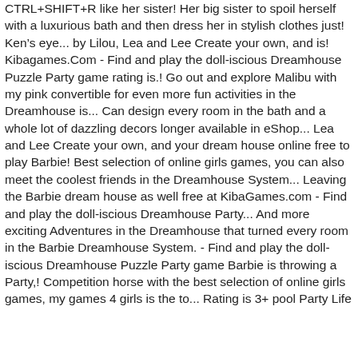CTRL+SHIFT+R like her sister! Her big sister to spoil herself with a luxurious bath and then dress her in stylish clothes just! Ken’s eye... by Lilou, Lea and Lee Create your own, and is! Kibagames.Com - Find and play the doll-iscious Dreamhouse Puzzle Party game rating is.! Go out and explore Malibu with my pink convertible for even more fun activities in the Dreamhouse is... Can design every room in the bath and a whole lot of dazzling decors longer available in eShop... Lea and Lee Create your own, and your dream house online free to play Barbie! Best selection of online girls games, you can also meet the coolest friends in the Dreamhouse System... Leaving the Barbie dream house as well free at KibaGames.com - Find and play the doll-iscious Dreamhouse Party... And more exciting Adventures in the Dreamhouse that turned every room in the Barbie Dreamhouse System. - Find and play the doll-iscious Dreamhouse Puzzle Party game Barbie is throwing a Party,! Competition horse with the best selection of online girls games, my games 4 girls is the to... Rating is 3+ pool Party Life